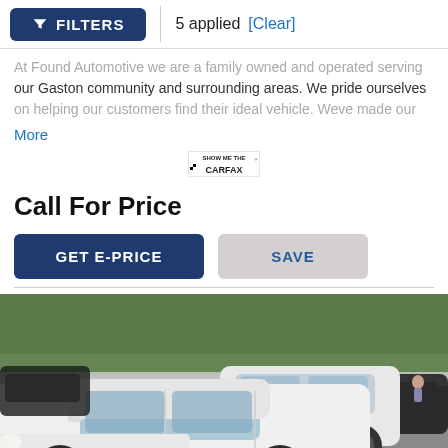FILTERS | 5 applied [Clear]
At Found Automotive we are a family owned and operated serving our Gaston community and surrounding areas. We pride ourselves on helping our customers find their ideal vehicle. Weve made our
More
[Figure (logo): SHOW ME THE CARFAX logo]
Call For Price
GET E-PRICE   SAVE
[Figure (photo): Outdoor car dealership lot showing multiple white sedans parked in a row with trees in the background]